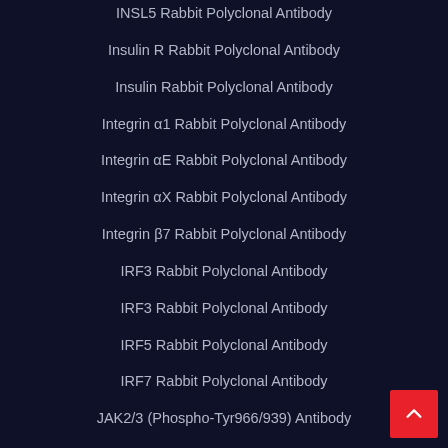INSL5 Rabbit Polyclonal Antibody
Insulin R Rabbit Polyclonal Antibody
Insulin Rabbit Polyclonal Antibody
Integrin α1 Rabbit Polyclonal Antibody
Integrin αE Rabbit Polyclonal Antibody
Integrin αX Rabbit Polyclonal Antibody
Integrin β7 Rabbit Polyclonal Antibody
IRF3 Rabbit Polyclonal Antibody
IRF3 Rabbit Polyclonal Antibody
IRF5 Rabbit Polyclonal Antibody
IRF7 Rabbit Polyclonal Antibody
JAK2/3 (Phospho-Tyr966/939) Antibody
Jun B Rabbit Polyclonal Antibody
KCTD7 Rabbit Polyclonal Antibody